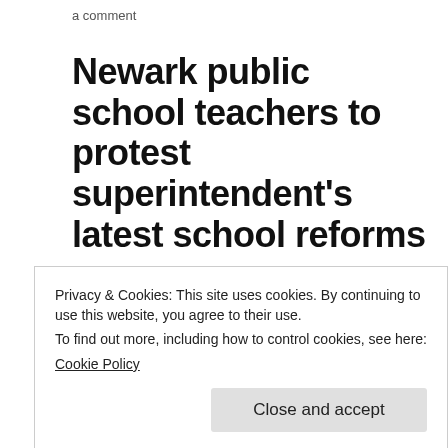a comment
Newark public school teachers to protest superintendent's latest school reforms
Newark teachers union to launch 'informational picket lines' in protest of
Privacy & Cookies: This site uses cookies. By continuing to use this website, you agree to their use.
To find out more, including how to control cookies, see here:
Cookie Policy
Close and accept
ture to naras their jobs.